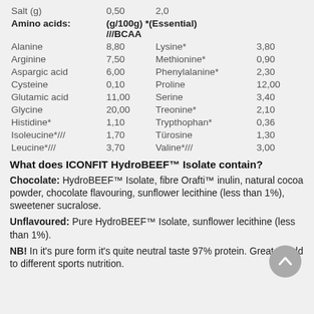|  |  |  |  |
| --- | --- | --- | --- |
| Salt (g) | 0,50 | 2,0 |  |
| Amino acids: | (g/100g) *(Essential) ///BCAA |  |  |
| Alanine | 8,80 | Lysine* | 3,80 |
| Arginine | 7,50 | Methionine* | 0,90 |
| Aspargic acid | 6,00 | Phenylalanine* | 2,30 |
| Cysteine | 0,10 | Proline | 12,00 |
| Glutamic acid | 11,00 | Serine | 3,40 |
| Glycine | 20,00 | Treonine* | 2,10 |
| Histidine* | 1,10 | Trypthophan* | 0,36 |
| Isoleucine*/// | 1,70 | Türosine | 1,30 |
| Leucine*/// | 3,70 | Valine*/// | 3,00 |
What does ICONFIT HydroBEEF™ Isolate contain?
Chocolate: HydroBEEF™ Isolate, fibre Orafti™ inulin, natural cocoa powder, chocolate flavouring, sunflower lecithine (less than 1%), sweetener sucralose.
Unflavoured: Pure HydroBEEF™ Isolate, sunflower lecithine (less than 1%).
NB! In it's pure form it's quite neutral taste 97% protein. Great to add to different sports nutrition.